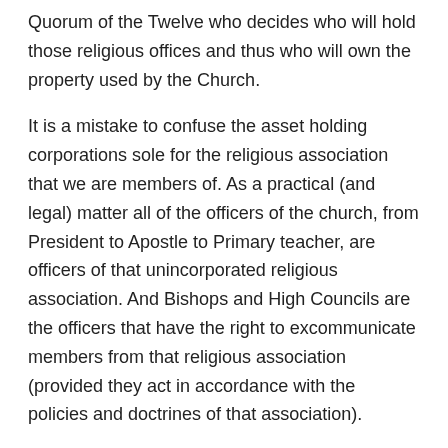Quorum of the Twelve who decides who will hold those religious offices and thus who will own the property used by the Church.
It is a mistake to confuse the asset holding corporations sole for the religious association that we are members of. As a practical (and legal) matter all of the officers of the church, from President to Apostle to Primary teacher, are officers of that unincorporated religious association. And Bishops and High Councils are the officers that have the right to excommunicate members from that religious association (provided they act in accordance with the policies and doctrines of that association).
I don't mean for this to take away from Michael's